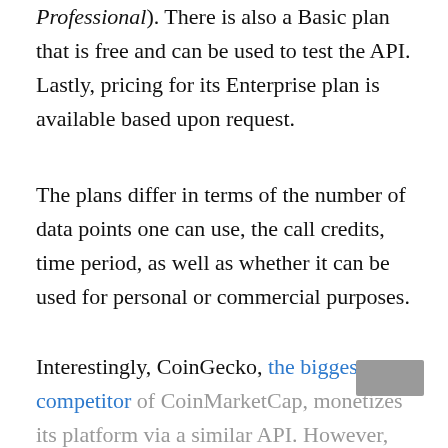Professional). There is also a Basic plan that is free and can be used to test the API. Lastly, pricing for its Enterprise plan is available based upon request.
The plans differ in terms of the number of data points one can use, the call credits, time period, as well as whether it can be used for personal or commercial purposes.
Interestingly, CoinGecko, the biggest competitor of CoinMarketCap, monetizes its platform via a similar API. However, CoinGecko likely benefits